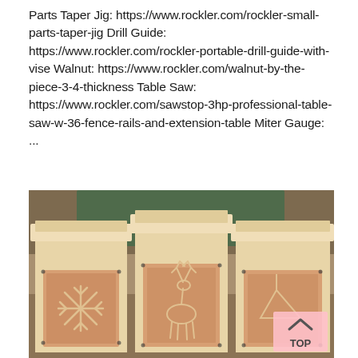Parts Taper Jig: https://www.rockler.com/rockler-small-parts-taper-jig Drill Guide: https://www.rockler.com/rockler-portable-drill-guide-with-vise Walnut: https://www.rockler.com/walnut-by-the-piece-3-4-thickness Table Saw: https://www.rockler.com/sawstop-3hp-professional-table-saw-w-36-fence-rails-and-extension-table Miter Gauge: ...
[Figure (photo): A person in a green jacket stands behind three wooden lantern-style boxes made of light pine wood. Each box has a framed front panel with a decorative cutout: the left one shows a snowflake pattern, the middle shows a reindeer/stag silhouette, and the right is partially visible. The boxes sit on a workbench surface. A pink 'TOP' scroll button is visible in the bottom-right corner of the image.]